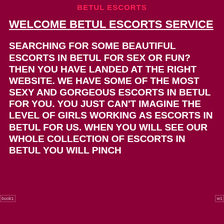BETUL ESCORTS
WELCOME BETUL ESCORTS SERVICE
SEARCHING FOR SOME BEAUTIFUL ESCORTS IN BETUL FOR SEX OR FUN? THEN YOU HAVE LANDED AT THE RIGHT WEBSITE. WE HAVE SOME OF THE MOST SEXY AND GORGEOUS ESCORTS IN BETUL FOR YOU. YOU JUST CAN'T IMAGINE THE LEVEL OF GIRLS WORKING AS ESCORTS IN BETUL FOR US. WHEN YOU WILL SEE OUR WHOLE COLLECTION OF ESCORTS IN BETUL YOU WILL PINCH